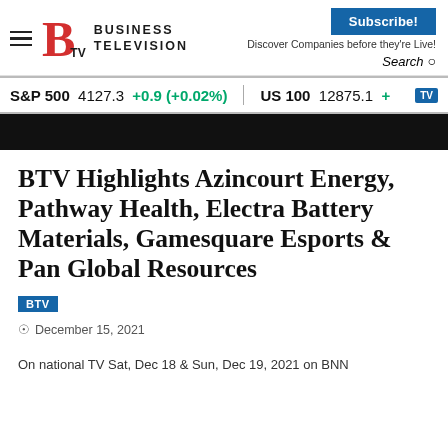Business Television — Subscribe! Discover Companies before they're Live! Search
S&P 500  4127.3  +0.9 (+0.02%)  US 100  12875.1  +
[Figure (screenshot): Black video thumbnail strip]
BTV Highlights Azincourt Energy, Pathway Health, Electra Battery Materials, Gamesquare Esports & Pan Global Resources
BTV
December 15, 2021
On national TV Sat, Dec 18 & Sun, Dec 19, 2021 on BNN